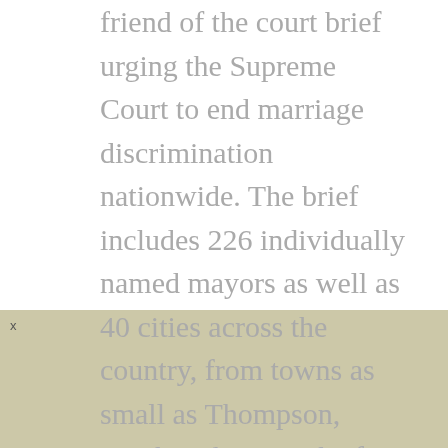friend of the court brief urging the Supreme Court to end marriage discrimination nationwide. The brief includes 226 individually named mayors as well as 40 cities across the country, from towns as small as Thompson, North Dakota, to the five largest cities in the nation, as well as the U.S. Conference of Mayors, the National League of Cities, and the International Municipal Lawyers Association.